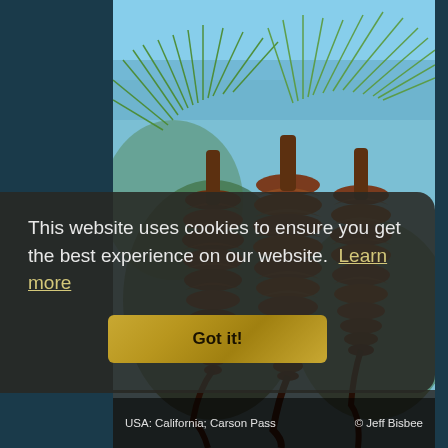[Figure (photo): Close-up photograph of pine cones hanging from a pine tree branch with green needles, against a blue sky background. USA: California; Carson Pass. Photo credit: Jeff Bisbee.]
This website uses cookies to ensure you get the best experience on our website. Learn more
Got it!
USA: California; Carson Pass    © Jeff Bisbee